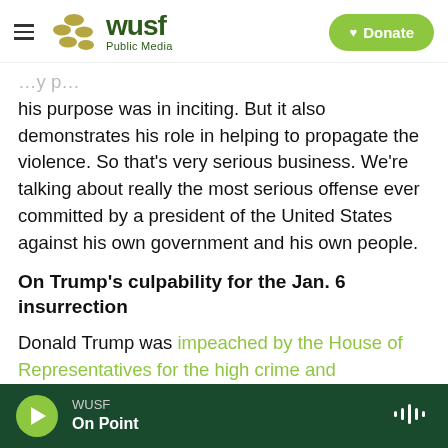[Figure (logo): WUSF Public Media logo with hamburger menu and Donate button]
his purpose was in inciting. But it also demonstrates his role in helping to propagate the violence. So that's very serious business. We're talking about really the most serious offense ever committed by a president of the United States against his own government and his own people.
On Trump's culpability for the Jan. 6 insurrection
Donald Trump was impeached by the House of Representatives for the high crime and misdemeanor of inciting violent insurrection against the union, and [the impeachment officers]
WUSF · On Point